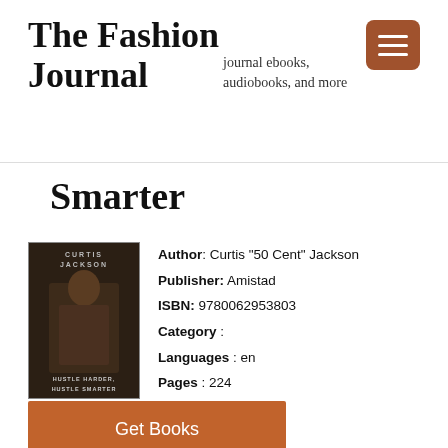The Fashion Journal
journal ebooks, audiobooks, and more
[Figure (other): Hamburger menu icon button with three horizontal white lines on a brown/terracotta rounded rectangle background]
Smarter
[Figure (photo): Book cover for Hustle Harder, Hustle Smarter by Curtis Jackson (50 Cent), showing a man in a suit seated in a chair, dark background with the author name at top]
Author: Curtis "50 Cent" Jackson
Publisher: Amistad
ISBN: 9780062953803
Category :
Languages : en
Pages : 224
Get Books
Book Description
For the first time, Curtis "50 Cent" Jackson opens